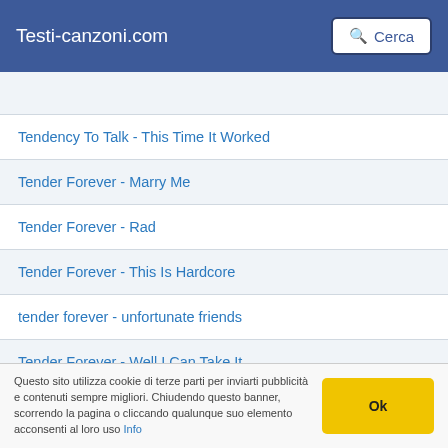Testi-canzoni.com  Cerca
Tendency To Talk - This Time It Worked
Tender Forever - Marry Me
Tender Forever - Rad
Tender Forever - This Is Hardcore
tender forever - unfortunate friends
Tender Forever - Well I Can Take It
Tender Pain - Darkness in my face
Tender Pain - Someone
Tenderfoot - Broken Bones
Questo sito utilizza cookie di terze parti per inviarti pubblicità e contenuti sempre migliori. Chiudendo questo banner, scorrendo la pagina o cliccando qualunque suo elemento acconsenti al loro uso Info